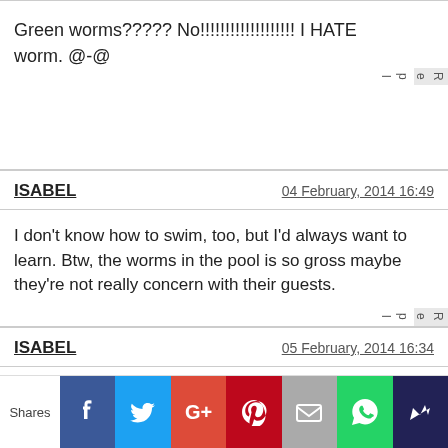Green worms????? No!!!!!!!!!!!!!!!!!!! I HATE worm. @-@
ISABEL	04 February, 2014 16:49
I don't know how to swim, too, but I'd always want to learn. Btw, the worms in the pool is so gross maybe they're not really concern with their guests.
ISABEL	05 February, 2014 16:34
Yes. Green slippery worms omg so gross!